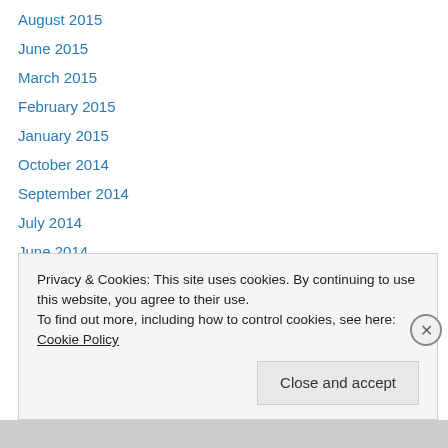August 2015
June 2015
March 2015
February 2015
January 2015
October 2014
September 2014
July 2014
June 2014
May 2014
April 2014
March 2014
February 2014
Privacy & Cookies: This site uses cookies. By continuing to use this website, you agree to their use.
To find out more, including how to control cookies, see here: Cookie Policy